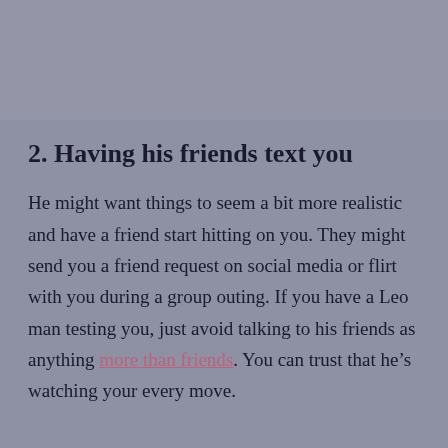[Figure (photo): Gray/blurred image area at top of page]
2. Having his friends text you
He might want things to seem a bit more realistic and have a friend start hitting on you. They might send you a friend request on social media or flirt with you during a group outing. If you have a Leo man testing you, just avoid talking to his friends as anything more than friends. You can trust that he’s watching your every move.